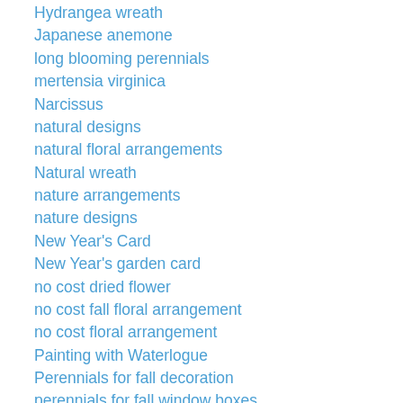Hydrangea wreath
Japanese anemone
long blooming perennials
mertensia virginica
Narcissus
natural designs
natural floral arrangements
Natural wreath
nature arrangements
nature designs
New Year's Card
New Year's garden card
no cost dried flower
no cost fall floral arrangement
no cost floral arrangement
Painting with Waterlogue
Perennials for fall decoration
perennials for fall window boxes
perennials for flowerpots
Perennials that keep on giving